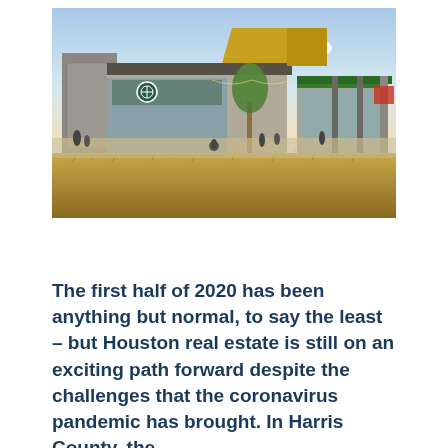[Figure (photo): Architectural rendering of a modern commercial/retail building with green accents, outdoor gathering space, people walking and cycling, surrounded by natural grasses. Golden hour lighting with blue sky.]
The first half of 2020 has been anything but normal, to say the least – but Houston real estate is still on an exciting path forward despite the challenges that the coronavirus pandemic has brought. In Harris County, the